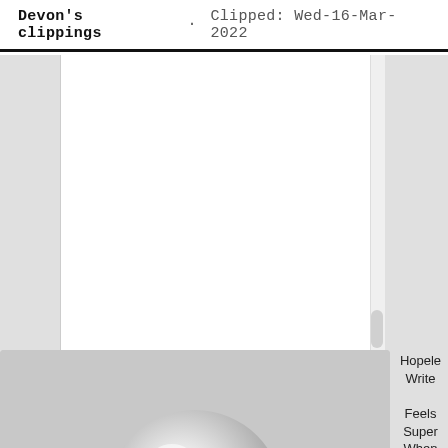Devon's clippings · Clipped: Wed-16-Mar-2022
[Figure (photo): Cropped web page screenshot showing a white content card area above, and a grey photo/image area below containing a sphere or globe-like illustration. A vertical scrollbar is visible on the right side of the card.]
Hopele Write
Feels Super When